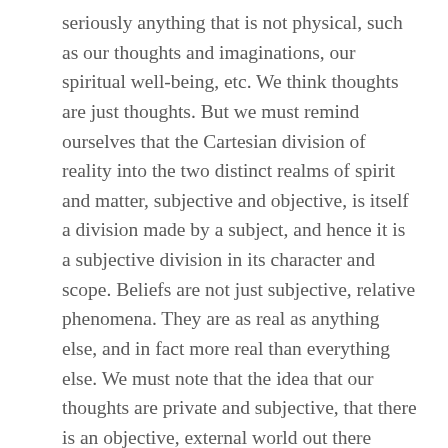seriously anything that is not physical, such as our thoughts and imaginations, our spiritual well-being, etc. We think thoughts are just thoughts. But we must remind ourselves that the Cartesian division of reality into the two distinct realms of spirit and matter, subjective and objective, is itself a division made by a subject, and hence it is a subjective division in its character and scope. Beliefs are not just subjective, relative phenomena. They are as real as anything else, and in fact more real than everything else. We must note that the idea that our thoughts are private and subjective, that there is an objective, external world out there which exists independently of our ideas, that our minds and existence and beliefs are immaterial and irrelevant, is itself a subjective belief, a mere conviction, now held by the majority which gives it the illusion of being correct.